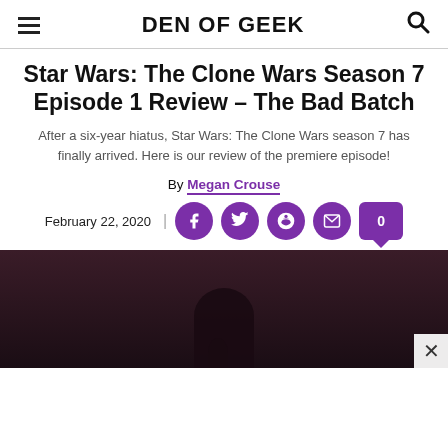DEN OF GEEK
Star Wars: The Clone Wars Season 7 Episode 1 Review – The Bad Batch
After a six-year hiatus, Star Wars: The Clone Wars season 7 has finally arrived. Here is our review of the premiere episode!
By Megan Crouse
February 22, 2020
[Figure (photo): Dark scene from Star Wars: The Clone Wars, partially visible at bottom of page]